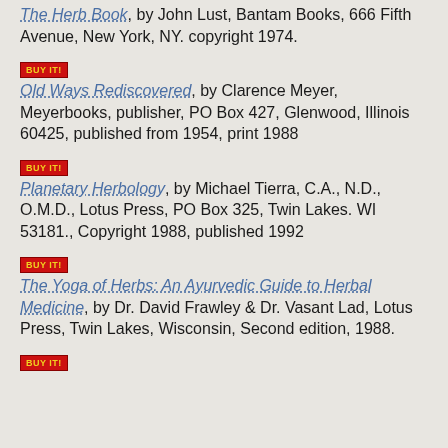The Herb Book, by John Lust, Bantam Books, 666 Fifth Avenue, New York, NY. copyright 1974.
Old Ways Rediscovered, by Clarence Meyer, Meyerbooks, publisher, PO Box 427, Glenwood, Illinois 60425, published from 1954, print 1988
Planetary Herbology, by Michael Tierra, C.A., N.D., O.M.D., Lotus Press, PO Box 325, Twin Lakes. WI 53181., Copyright 1988, published 1992
The Yoga of Herbs: An Ayurvedic Guide to Herbal Medicine, by Dr. David Frawley & Dr. Vasant Lad, Lotus Press, Twin Lakes, Wisconsin, Second edition, 1988.